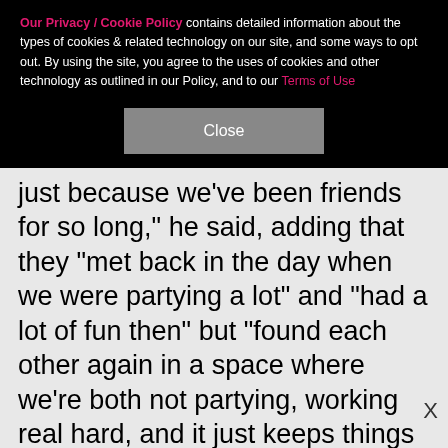Our Privacy / Cookie Policy contains detailed information about the types of cookies & related technology on our site, and some ways to opt out. By using the site, you agree to the uses of cookies and other technology as outlined in our Policy, and to our Terms of Use
Close
just because we've been friends for so long," he said, adding that they "met back in the day when we were partying a lot" and "had a lot of fun then" but "found each other again in a space where we're both not partying, working real hard, and it just keeps things healthy and it's good." Continued Cody, "Any girlfriends I've had in the past has always been immediate romance and so it's a different experience having been friends with somebody before and it developing
[Figure (screenshot): CVS Pharmacy advertisement banner: Shop CVS® Products Today with CVS logo and navigation arrow icon]